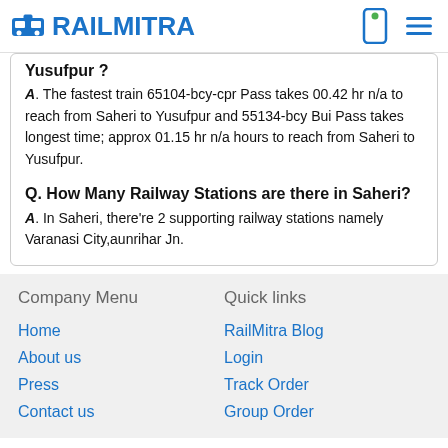RAILMITRA
Yusufpur ?
A. The fastest train 65104-bcy-cpr Pass takes 00.42 hr n/a to reach from Saheri to Yusufpur and 55134-bcy Bui Pass takes longest time; approx 01.15 hr n/a hours to reach from Saheri to Yusufpur.
Q. How Many Railway Stations are there in Saheri?
A. In Saheri, there're 2 supporting railway stations namely Varanasi City,aunrihar Jn.
Company Menu
Quick links
Home
About us
Press
Contact us
RailMitra Blog
Login
Track Order
Group Order